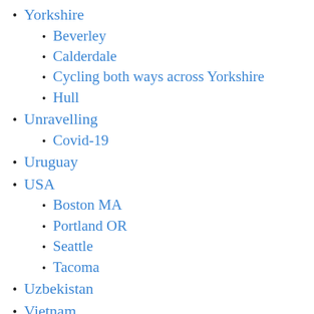Yorkshire
Beverley
Calderdale
Cycling both ways across Yorkshire
Hull
Unravelling
Covid-19
Uruguay
USA
Boston MA
Portland OR
Seattle
Tacoma
Uzbekistan
Vietnam
Danang